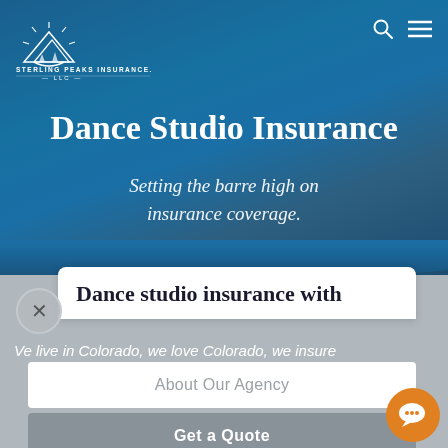[Figure (logo): Sterling Peaks Insurance LLC logo with mountain and sun graphic above the company name]
Dance Studio Insurance
Setting the barre high on insurance coverage.
Dance studio insurance with
We live in Colorado, we love Colorado, we insure
About Our Agency
Get a Quote